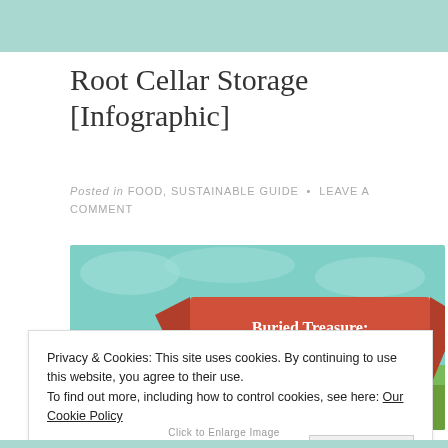Root Cellar Storage [Infographic]
Posted in FOOD, SUSTAINABLE GUIDE • LEAVE A COMMENT
[Figure (infographic): Infographic banner showing 'Buried Treasure: Preserve the Harvest in a Root Cellar' with red ribbon banner on teal/green illustrated background]
Privacy & Cookies: This site uses cookies. By continuing to use this website, you agree to their use.
To find out more, including how to control cookies, see here: Our Cookie Policy
close
Click to Enlarge Image